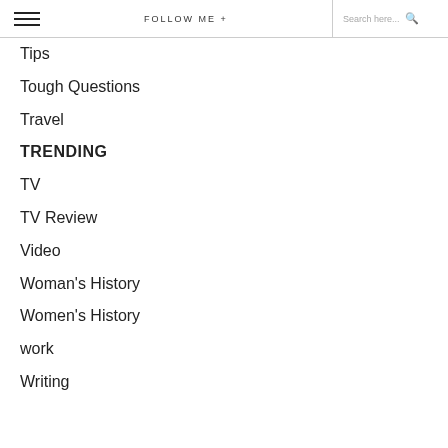≡  FOLLOW ME +  Search here...
Tips
Tough Questions
Travel
TRENDING
TV
TV Review
Video
Woman's History
Women's History
work
Writing